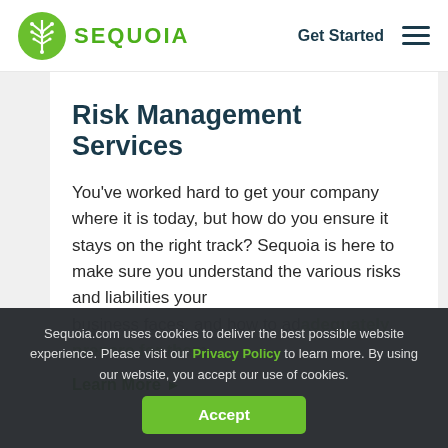SEQUOIA  Get Started
Risk Management Services
You’ve worked hard to get your company where it is today, but how do you ensure it stays on the right track? Sequoia is here to make sure you understand the various risks and liabilities your business faces, and how to adequately prepare for them.
Learn More ►
Sequoia.com uses cookies to deliver the best possible website experience. Please visit our Privacy Policy to learn more. By using our website, you accept our use of cookies.